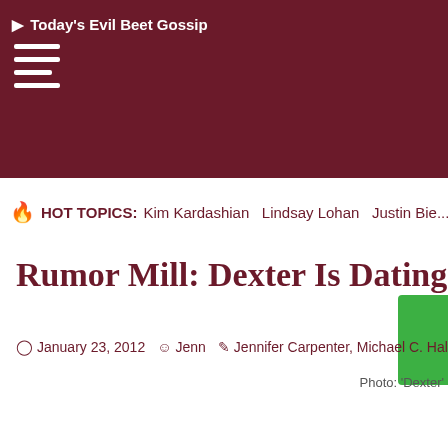Today's Evil Beet Gossip
HOT TOPICS: Kim Kardashian  Lindsay Lohan  Justin Bie...
Rumor Mill: Dexter Is Dating His Sister A...
January 23, 2012   Jenn   Jennifer Carpenter, Michael C. Hal...
[Figure (photo): Photo placeholder: 'Dexter']